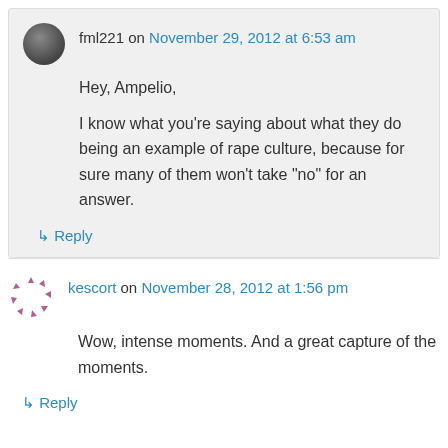fml221 on November 29, 2012 at 6:53 am
Hey, Ampelio,

I know what you're saying about what they do being an example of rape culture, because for sure many of them won't take “no” for an answer.
↳ Reply
kescort on November 28, 2012 at 1:56 pm
Wow, intense moments. And a great capture of the moments.
↳ Reply